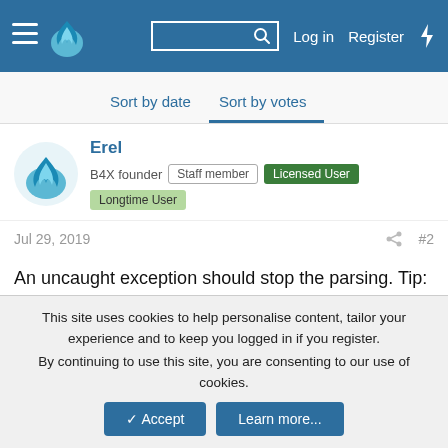B4X Forum navigation bar with Log in, Register links
Sort by date  Sort by votes
Erel
B4X founder  Staff member  Licensed User  Longtime User
Jul 29, 2019  #2
An uncaught exception should stop the parsing. Tip: Use Xml2Map instead of parsing the XML yourself.
0
cimperia
Active Member  Licensed User  Longtime User
This site uses cookies to help personalise content, tailor your experience and to keep you logged in if you register.
By continuing to use this site, you are consenting to our use of cookies.